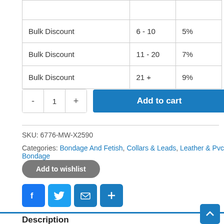| Type | Quantity | Discount |
| --- | --- | --- |
|  |  |  |
| Bulk Discount | 6 - 10 | 5% |
| Bulk Discount | 11 - 20 | 7% |
| Bulk Discount | 21 + | 9% |
- 1 + Add to cart
SKU: 6776-MW-X2590
Categories: Bondage And Fetish, Collars & Leads, Leather & Pvc Bondage
Add to wishlist
[Figure (other): Social share icons: Facebook, Twitter, Email, and More (+)]
Description